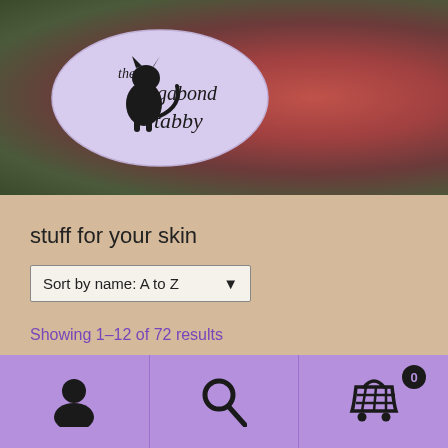[Figure (photo): Hero banner showing a close-up of skin tones with reddish-brown and olive-green background. An oval logo for 'the vagabond tabby' is overlaid with a black cat silhouette and italic/script lettering.]
stuff for your skin
Sort by name: A to Z
Showing 1–12 of 72 results
[Figure (screenshot): Purple bottom navigation bar with three icons: a person/user icon, a magnifying glass/search icon, and a shopping cart icon with badge showing 0.]